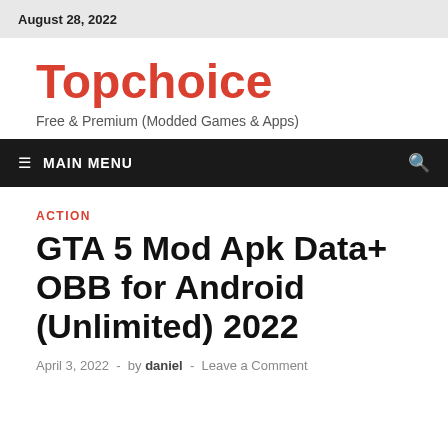August 28, 2022
Topchoice
Free & Premium (Modded Games & Apps)
≡  MAIN MENU
ACTION
GTA 5 Mod Apk Data+ OBB for Android (Unlimited) 2022
April 3, 2022  -  by daniel  -  Leave a Comment